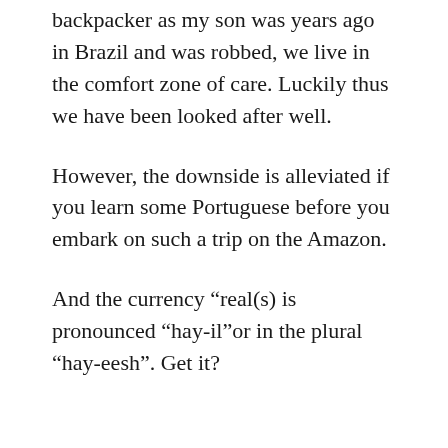backpacker as my son was years ago in Brazil and was robbed, we live in the comfort zone of care. Luckily thus we have been looked after well.
However, the downside is alleviated if you learn some Portuguese before you embark on such a trip on the Amazon.
And the currency “real(s) is pronounced “hay-il”or in the plural “hay-eesh”. Get it?
Uruguay – the place where the Italians colonised